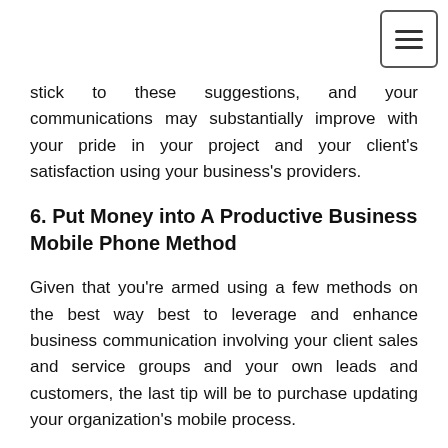[Figure (other): Hamburger menu button (three horizontal lines) in top-right corner]
stick to these suggestions, and your communications may substantially improve with your pride in your project and your client's satisfaction using your business's providers.
6. Put Money into A Productive Business Mobile Phone Method
Given that you're armed using a few methods on the best way best to leverage and enhance business communication involving your client sales and service groups and your own leads and customers, the last tip will be to purchase updating your organization's mobile process.
Maybe not just can a firm mobile program make sure good